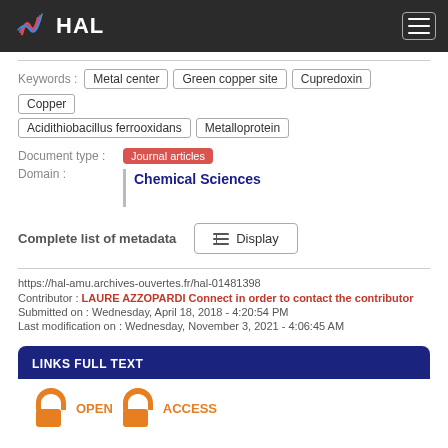HAL
Keywords : Metal center | Green copper site | Cupredoxin | Copper | Acidithiobacillus ferrooxidans | Metalloprotein
Document type : Journal articles
Domain : Chemical Sciences
Complete list of metadata  Display
https://hal-amu.archives-ouvertes.fr/hal-01481398
Contributor : LAURE AZZOPARDI Connect in order to contact the contributor
Submitted on : Wednesday, April 18, 2018 - 4:20:54 PM
Last modification on : Wednesday, November 3, 2021 - 4:06:45 AM
LINKS FULL TEXT
[Figure (logo): Open Access logo with open padlock icon in orange]